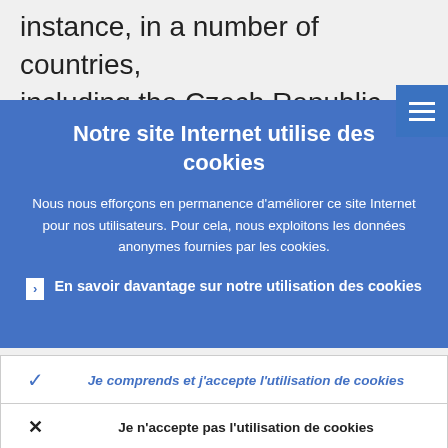instance, in a number of countries, including the Czech Republic, Hungary and Sl...
[Figure (screenshot): Hamburger menu icon button with three horizontal white lines on blue background]
Notre site Internet utilise des cookies
Nous nous efforçons en permanence d'améliorer ce site Internet pour nos utilisateurs. Pour cela, nous exploitons les données anonymes fournies par les cookies.
› En savoir davantage sur notre utilisation des cookies
✓ Je comprends et j'accepte l'utilisation de cookies
✗ Je n'accepte pas l'utilisation de cookies